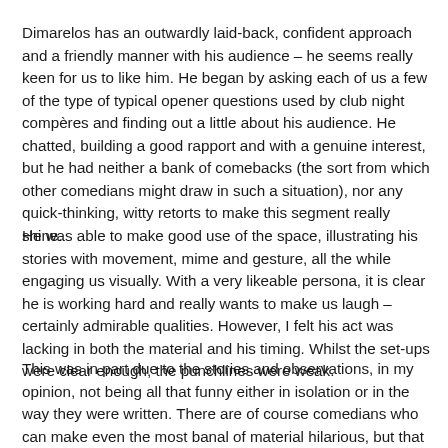Dimarelos has an outwardly laid-back, confident approach and a friendly manner with his audience – he seems really keen for us to like him. He began by asking each of us a few of the type of typical opener questions used by club night compères and finding out a little about his audience. He chatted, building a good rapport and with a genuine interest, but he had neither a bank of comebacks (the sort from which other comedians might draw in such a situation), nor any quick-thinking, witty retorts to make this segment really shine.
He was able to make good use of the space, illustrating his stories with movement, mime and gesture, all the while engaging us visually. With a very likeable persona, it is clear he is working hard and really wants to make us laugh – certainly admirable qualities. However, I felt his act was lacking in both the material and his timing. Whilst the set-ups were clear enough, the punchlines were weak.
This was in part due to the stories and observations, in my opinion, not being all that funny either in isolation or in the way they were written. There are of course comedians who can make even the most banal of material hilarious, but that wasn't the case here. Dimarelos has some good ideas, telling us about his time travelling,